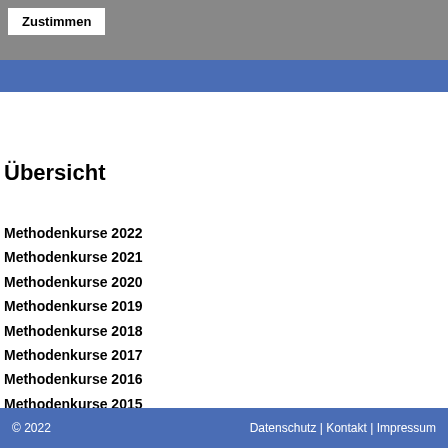Zustimmen
Übersicht
Methodenkurse 2022
Methodenkurse 2021
Methodenkurse 2020
Methodenkurse 2019
Methodenkurse 2018
Methodenkurse 2017
Methodenkurse 2016
Methodenkurse 2015
Methodenkurse 2014
© 2022    Datenschutz | Kontakt | Impressum